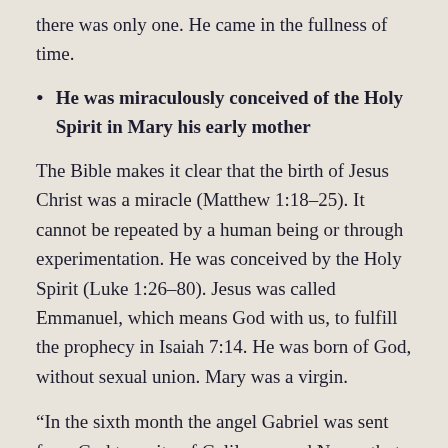there was only one. He came in the fullness of time.
He was miraculously conceived of the Holy Spirit in Mary his early mother
The Bible makes it clear that the birth of Jesus Christ was a miracle (Matthew 1:18-25). It cannot be repeated by a human being or through experimentation. He was conceived by the Holy Spirit (Luke 1:26-80). Jesus was called Emmanuel, which means God with us, to fulfill the prophecy in Isaiah 7:14. He was born of God, without sexual union. Mary was a virgin.
“In the sixth month the angel Gabriel was sent from God to a city of Galilee named Nazareth, to a virgin